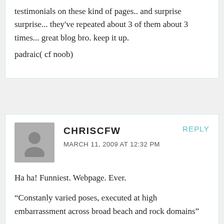testimonials on these kind of pages.. and surprise surprise... they've repeated about 3 of them about 3 times... great blog bro. keep it up.
padraic( cf noob)
CHRISCFW
MARCH 11, 2009 AT 12:32 PM
REPLY
Ha ha! Funniest. Webpage. Ever.
“Constanly varied poses, executed at high embarrassment across broad beach and rock domains”